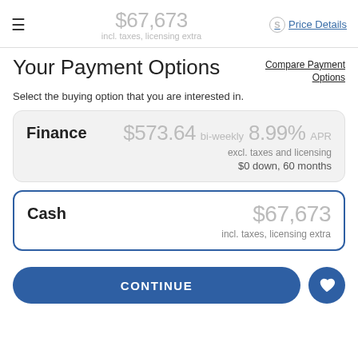≡  $67,673  incl. taxes, licensing extra  Price Details
Your Payment Options
Compare Payment Options
Select the buying option that you are interested in.
Finance  $573.64 bi-weekly  8.99% APR  excl. taxes and licensing  $0 down, 60 months
Cash  $67,673  incl. taxes, licensing extra
CONTINUE